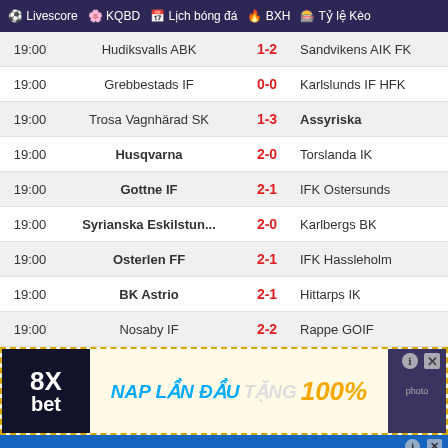Livescore  KQBD  Lịch bóng đá  BXH  Tỷ lệ Kèo
| Time | Home | Score | Away |
| --- | --- | --- | --- |
| 19:00 | Hudiksvalls ABK | 1-2 | Sandvikens AIK FK |
| 19:00 | Grebbestads IF | 0-0 | Karlslunds IF HFK |
| 19:00 | Trosa Vagnhärad SK | 1-3 | Assyriska |
| 19:00 | Husqvarna | 2-0 | Torslanda IK |
| 19:00 | Gottne IF | 2-1 | IFK Ostersunds |
| 19:00 | Syrianska Eskilstun... | 2-0 | Karlbergs BK |
| 19:00 | Osterlen FF | 2-1 | IFK Hassleholm |
| 19:00 | BK Astrio | 2-1 | Hittarps IK |
| 19:00 | Nosaby IF | 2-2 | Rappe GOIF |
[Figure (infographic): 8Xbet advertisement: NAP LẦN ĐẦU TẶNG 100%]
[Figure (infographic): SH BET advertisement repeated three times]
[Figure (infographic): THIÊN ĐƯỜNG CHO TẤT CẢ ĐÀN ÔNG / APP 18+ ĐẦU TIÊN TRONG NƯỚC / XINH.TV]